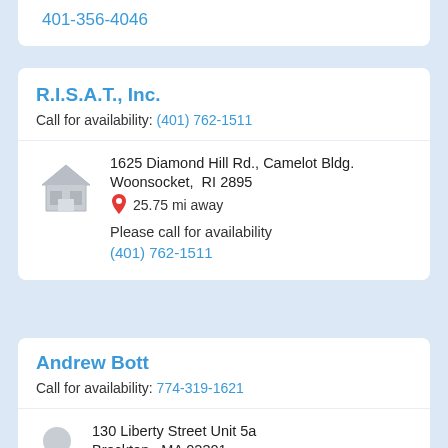401-356-4046
R.I.S.A.T., Inc.
Call for availability: (401) 762-1511
1625 Diamond Hill Rd., Camelot Bldg. Woonsocket, RI 2895
25.75 mi away
Please call for availability
(401) 762-1511
Andrew Bott
Call for availability: 774-319-1621
130 Liberty Street Unit 5a
Brockton, MA 02301